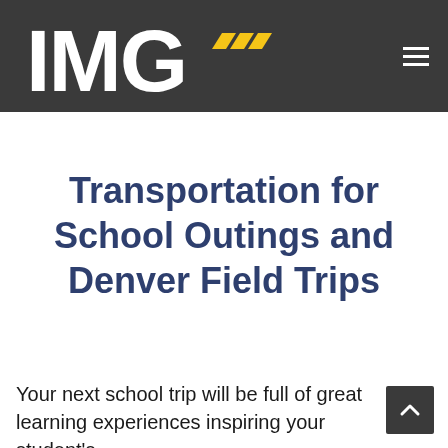[Figure (logo): IMG logo with yellow chevron stripes on dark gray header bar]
Transportation for School Outings and Denver Field Trips
Your next school trip will be full of great learning experiences inspiring your student's